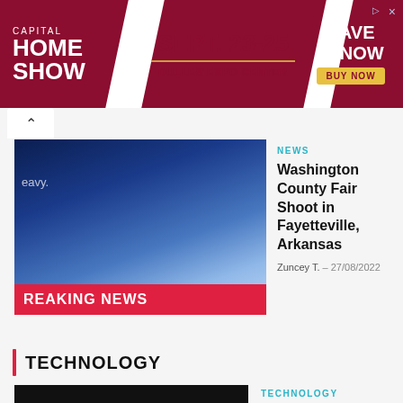[Figure (other): Capital Home Show advertisement banner. Dark red/maroon background. Left: 'CAPITAL HOME SHOW' in white. Center white diagonal section: 'SEPT. 23-25' large, 'DULLES EXPO CENTER' below. Right: 'SAVE $3 NOW' with yellow 'BUY NOW' button.]
NEWS
Washington County Fair Shoot in Fayetteville, Arkansas
Zuncey T.  -  27/08/2022
TECHNOLOGY
TECHNOLOGY
NASA's Artemis launch will change the future of humans in space
Zuncey T.  -  27/08/2022
TECHNOLOGY
DI-MOBILE Princess Diana's INCREDIBLE Ford Escort RS Turbo has just sold at